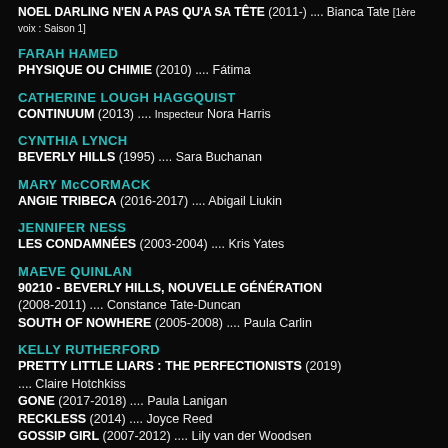NOEL DARLING N'EN A PAS QU'A SA TÊTE (2011-) .... Bianca Tate [1ère voix : Saison 1]
FARAH HAMED
PHYSIQUE OU CHIMIE (2010) .... Fátima
CATHERINE LOUGH HAGGQUIST
CONTINUUM (2013) .... Inspecteur Nora Harris
CYNTHIA LYNCH
BEVERLY HILLS (1995) .... Sara Buchanan
MARY McCORMACK
ANGIE TRIBECA (2016-2017) .... Abigail Liukin
JENNIFER NESS
LES CONDAMNÉES (2003-2004) .... Kris Yates
MAEVE QUINLAN
90210 - BEVERLY HILLS, NOUVELLE GÉNÉRATION (2008-2011) .... Constance Tate-Duncan
SOUTH OF NOWHERE (2005-2008) .... Paula Carlin
KELLY RUTHERFORD
PRETTY LITTLE LIARS : THE PERFECTIONISTS (2019) .... Claire Hotchkiss
GONE (2017-2018) .... Paula Lanigan
RECKLESS (2014) .... Joyce Reed
GOSSIP GIRL (2007-2012) .... Lily van der Woodsen